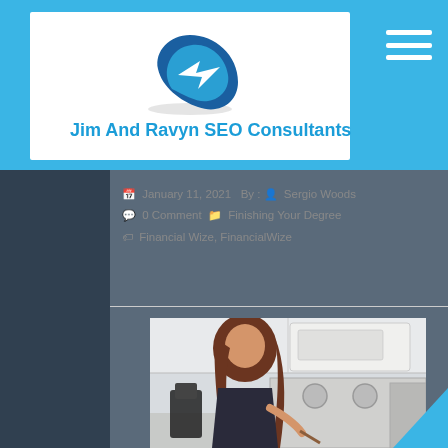Jim And Ravyn SEO Consultants
January 11, 2021  By :  Sergio Woods  0 Comment  Finishing Your Degree  Financial Wize, FinancialWize
[Figure (photo): Woman cooking in a kitchen, standing at the stove with long brown hair, wearing a dark sleeveless top, with white cabinets and microwave in background.]